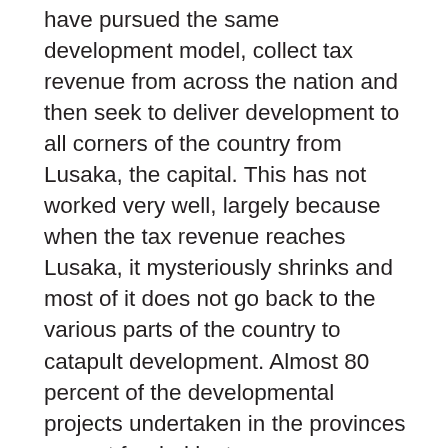have pursued the same development model, collect tax revenue from across the nation and then seek to deliver development to all corners of the country from Lusaka, the capital. This has not worked very well, largely because when the tax revenue reaches Lusaka, it mysteriously shrinks and most of it does not go back to the various parts of the country to catapult development. Almost 80 percent of the developmental projects undertaken in the provinces are not funded by taxpayers money, but are donations by various well-wishers ranging from the World Bank, African Development Bank, the Civil Society Organizations, Church Based Organizations etcetera. Each successive Government has failed to properly account for the